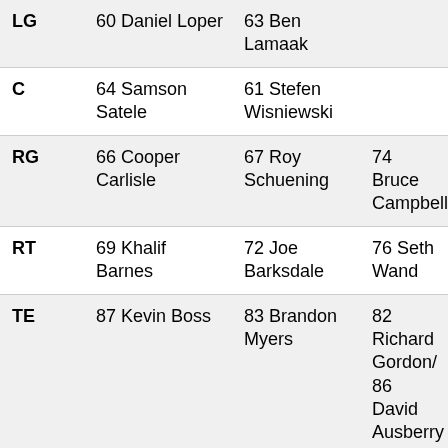| LG | 60 Daniel Loper | 63 Ben Lamaak |  |
| C | 64 Samson Satele | 61 Stefen Wisniewski |  |
| RG | 66 Cooper Carlisle | 67 Roy Schuening | 74 Bruce Campbell |
| RT | 69 Khalif Barnes | 72 Joe Barksdale | 76 Seth Wand |
| TE | 87 Kevin Boss | 83 Brandon Myers | 82 Richard Gordon/ 86 David Ausberry |
| WR | 12 Jacoby Ford | 81 Chaz Schilens | 89 Nick Miller |